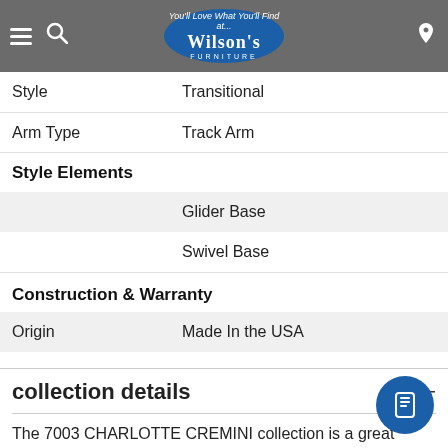Wilson's Furniture
| Attribute | Value |
| --- | --- |
| Style | Transitional |
| Arm Type | Track Arm |
| Style Elements |  |
|  | Glider Base |
|  | Swivel Base |
| Construction & Warranty |  |
| Origin | Made In the USA |
collection details
The 7003 CHARLOTTE CREMINI collection is a great option if you are looking for Transitional furniture Bellingham, Ferndale, Lynden, and Birch Bay/Blaine, Washington area.